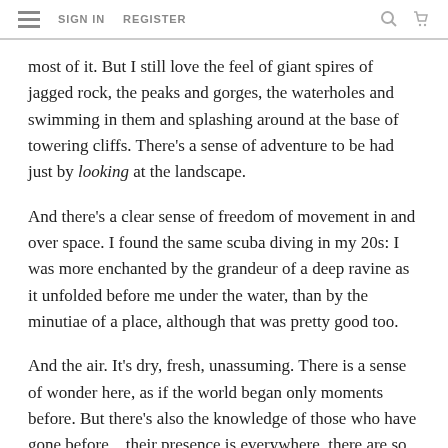SIGN IN   REGISTER
most of it. But I still love the feel of giant spires of jagged rock, the peaks and gorges, the waterholes and swimming in them and splashing around at the base of towering cliffs. There’s a sense of adventure to be had just by looking at the landscape.
And there’s a clear sense of freedom of movement in and over space. I found the same scuba diving in my 20s: I was more enchanted by the grandeur of a deep ravine as it unfolded before me under the water, than by the minutiae of a place, although that was pretty good too.
And the air. It’s dry, fresh, unassuming. There is a sense of wonder here, as if the world began only moments before. But there’s also the knowledge of those who have gone before... their presence is everywhere, there are so many layers to what you see in the Centre.